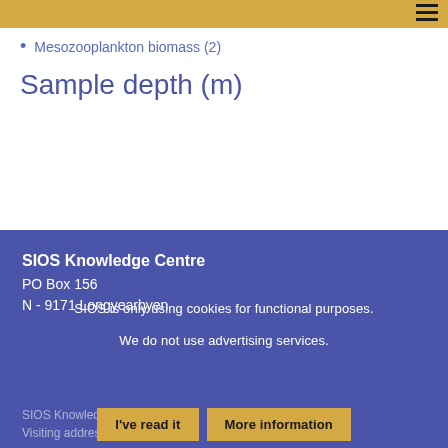Mesozooplankton biomass (2)
Sample depth (m)
SIOS Knowledge Centre
PO Box 156
N - 9171 Longyearbyen
SIOS is only using cookies for functional purposes.
We do not use advertising services.
SIOS Knowledge Centre Staff
Visiting address
Norsk Polarinstitutt
I've read it   More information